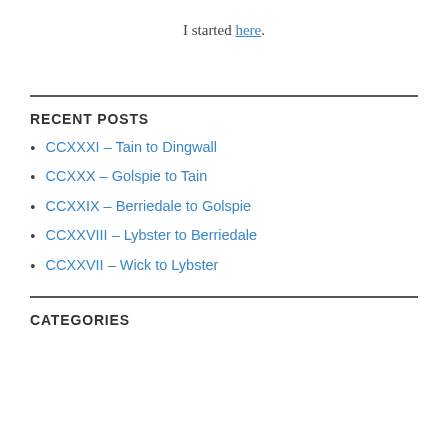I started here.
RECENT POSTS
CCXXXI – Tain to Dingwall
CCXXX – Golspie to Tain
CCXXIX – Berriedale to Golspie
CCXXVIII – Lybster to Berriedale
CCXXVII – Wick to Lybster
CATEGORIES